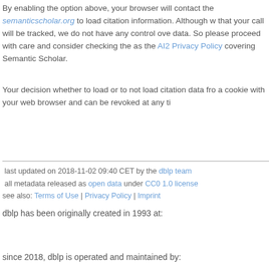By enabling the option above, your browser will contact the semanticscholar.org to load citation information. Although w that your call will be tracked, we do not have any control ove data. So please proceed with care and consider checking the as the AI2 Privacy Policy covering Semantic Scholar.
Your decision whether to load or to not load citation data fro a cookie with your web browser and can be revoked at any ti
last updated on 2018-11-02 09:40 CET by the dblp team
all metadata released as open data under CC0 1.0 license
see also: Terms of Use | Privacy Policy | Imprint
dblp has been originally created in 1993 at:
since 2018, dblp is operated and maintained by: